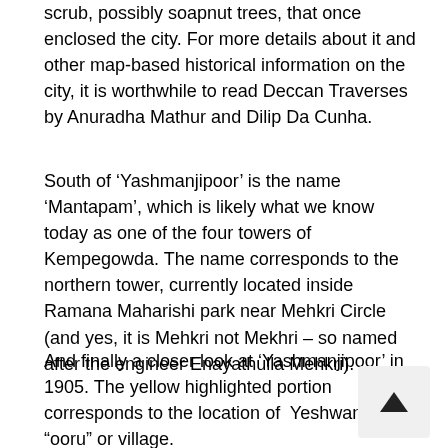scrub, possibly soapnut trees, that once enclosed the city. For more details about it and other map-based historical information on the city, it is worthwhile to read Deccan Traverses by Anuradha Mathur and Dilip Da Cunha.
South of ‘Yashmanjipoor’ is the name ‘Mantapam’, which is likely what we know today as one of the four towers of Kempegowda. The name corresponds to the northern tower, currently located inside Ramana Maharishi park near Mehkri Circle (and yes, it is Mehkri not Mekhri – so named after the engineer Enayathulla Mehkri).
And finally a closer look at ‘Yashmanjipoor’ in 1905. The yellow highlighted portion corresponds to the location of Yeshwanthpur “ooru” or village.